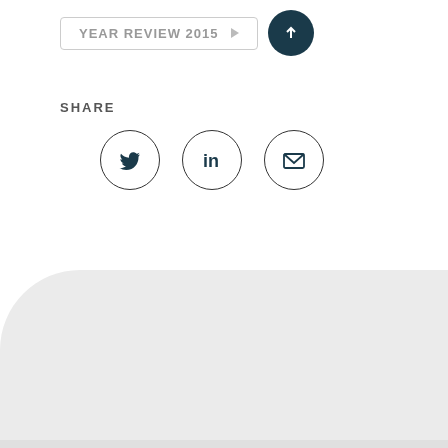YEAR REVIEW 2015
SHARE
[Figure (infographic): Three social sharing icons in circles: Twitter bird, LinkedIn 'in', and envelope/email icon]
Related
[Figure (illustration): Tilde/wave symbol in teal/cyan color]
Projects